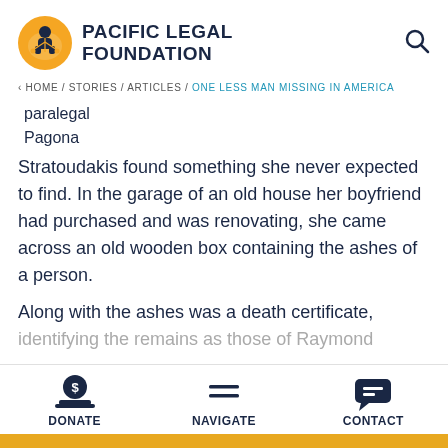PACIFIC LEGAL FOUNDATION
< HOME / STORIES / ARTICLES / ONE LESS MAN MISSING IN AMERICA
paralegal
Pagona
Stratoudakis found something she never expected to find. In the garage of an old house her boyfriend had purchased and was renovating, she came across an old wooden box containing the ashes of a person.
Along with the ashes was a death certificate, identifying the remains as those of Raymond
DONATE   NAVIGATE   CONTACT